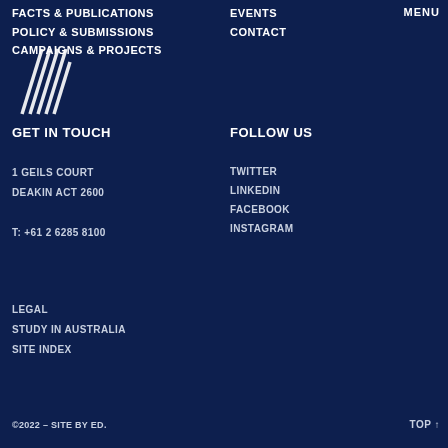FACTS & PUBLICATIONS | EVENTS | POLICY & SUBMISSIONS | CONTACT | CAMPAIGNS & PROJECTS | MENU
[Figure (logo): White stylized diagonal lines logo on dark navy background]
GET IN TOUCH
1 GEILS COURT
DEAKIN ACT 2600

T: +61 2 6285 8100
FOLLOW US
TWITTER
LINKEDIN
FACEBOOK
INSTAGRAM
LEGAL
STUDY IN AUSTRALIA
SITE INDEX
©2022 – SITE BY ED.
TOP ↑